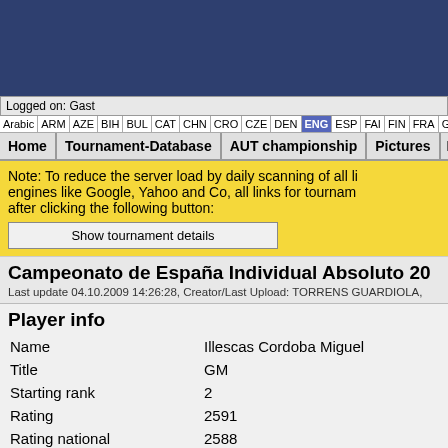[Figure (screenshot): Dark blue website header banner background]
Logged on: Gast
Arabic | ARM | AZE | BIH | BUL | CAT | CHN | CRO | CZE | DEN | ENG | ESP | FAI | FIN | FRA | GER | GRE | INA
Home | Tournament-Database | AUT championship | Pictures | FAQ
Note: To reduce the server load by daily scanning of all li... engines like Google, Yahoo and Co, all links for tournam... after clicking the following button: [Show tournament details]
Campeonato de España Individual Absoluto 20...
Last update 04.10.2009 14:26:28, Creator/Last Upload: TORRENS GUARDIOLA,
Player info
| Name | Illescas Cordoba Miguel |
| Title | GM |
| Starting rank | 2 |
| Rating | 2591 |
| Rating national | 2588 |
| Rating international | 2591 |